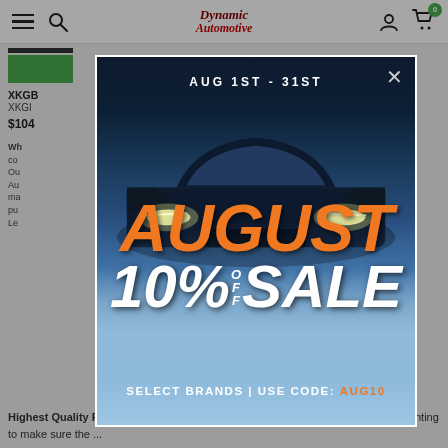Dynamic Automotive – navigation bar with hamburger menu, search, logo, account, and cart (0 items)
XKGB
XKGI
$104
Wh... co... Ou... Au... ma... pu... Le...
[Figure (infographic): August 10% OFF Sale promotional modal popup. Car in fog background. Text: AUG 1ST - 31ST / AUGUST / 10% OFF SALE / SELECT BRANDS | USE CODE: AUG10]
Highest Quality Products - We partner with only the best brands in Automotive Lighting to make sure the ...